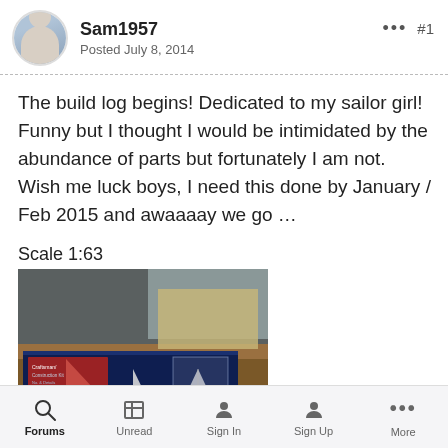Sam1957
Posted July 8, 2014
#1
The build log begins! Dedicated to my sailor girl! Funny but I thought I would be intimidated by the abundance of parts but fortunately I am not. Wish me luck boys, I need this done by January / Feb 2015 and awaaaay we go ...
Scale 1:63
[Figure (photo): A model ship kit box open on a wooden table, showing a dark blue box with white sails and instruction booklet.]
Forums  Unread  Sign In  Sign Up  More